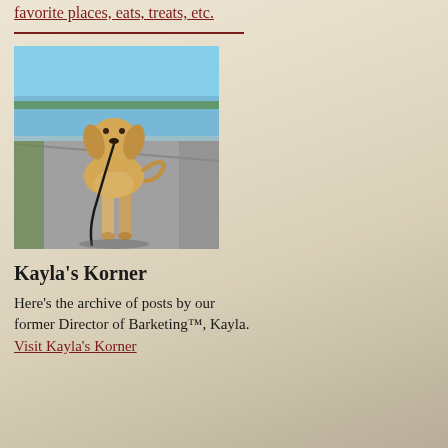favorite places, eats, treats, etc.
[Figure (photo): A golden/yellow Labrador dog walking on a paved path near water, holding a leash in its mouth, outdoors on a sunny day.]
Kayla's Korner
Here's the archive of posts by our former Director of Barketing™, Kayla. Visit Kayla's Korner